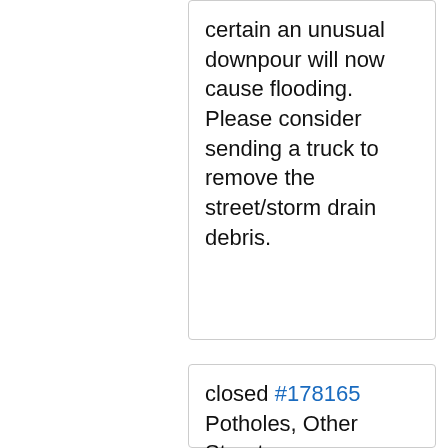certain an unusual downpour will now cause flooding. Please consider sending a truck to remove the street/storm drain debris.
closed #178165 Potholes, Other Street